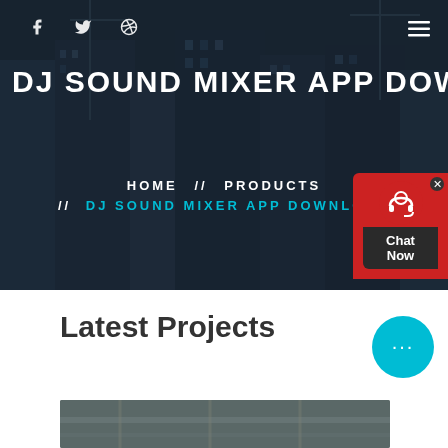f (facebook icon) (twitter icon) (dribbble icon) (hamburger menu)
DJ SOUND MIXER APP DOWNLOAD
HOME // PRODUCTS // DJ SOUND MIXER APP DOWNLOAD
[Figure (screenshot): Chat Now popup widget with red background, headset icon, and dark Chat Now label]
Latest Projects
[Figure (screenshot): Blue circular chat bubble with ellipsis (…) icon]
[Figure (photo): Partial photo of a construction/industrial site interior at the bottom of the page]